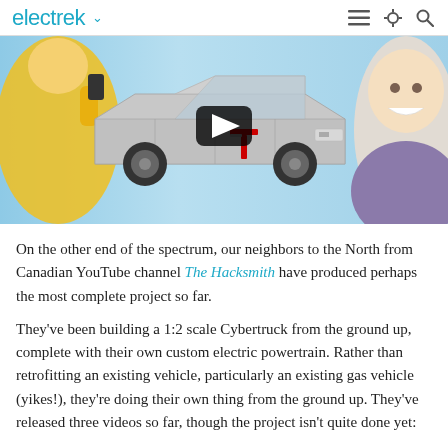electrek
[Figure (screenshot): Video thumbnail showing a homemade Cybertruck replica covered in metallic panels with a red Tesla logo on the side door, set against a light blue background. A person in a yellow hoodie is visible on the left and a smiling man in a purple shirt is on the right. A YouTube-style play button overlay is in the center.]
On the other end of the spectrum, our neighbors to the North from Canadian YouTube channel The Hacksmith have produced perhaps the most complete project so far.
They've been building a 1:2 scale Cybertruck from the ground up, complete with their own custom electric powertrain. Rather than retrofitting an existing vehicle, particularly an existing gas vehicle (yikes!), they're doing their own thing from the ground up. They've released three videos so far, though the project isn't quite done yet: